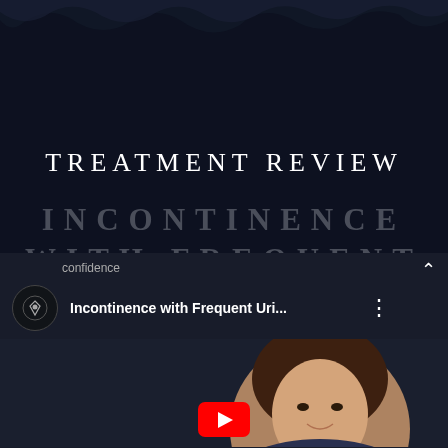TREATMENT REVIEW
INCONTINENCE WITH FREQUENT URINATION
[Figure (screenshot): YouTube video panel showing channel icon with a diamond/heart logo, video title 'Incontinence with Frequent Uri...' with three-dot menu, a female presenter visible in the video thumbnail, and a red YouTube play button at the bottom. A chevron-up arrow is shown in the top right. Channel label 'confidence' partially visible top left.]